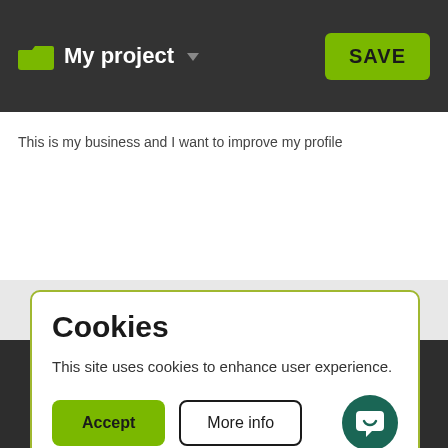My project  SAVE
This is my business and I want to improve my profile
Cookies
This site uses cookies to enhance user experience.
Accept   More info